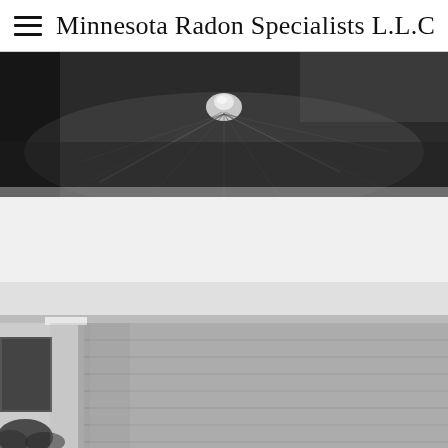Minnesota Radon Specialists L.L.C
[Figure (photo): Black and white close-up photo of a plastic sheet or membrane with a central protrusion/bump, possibly showing a radon mitigation membrane installation detail.]
[Figure (photo): Black and white photo of the exterior corner of a house showing white trim/eave, a column or pipe, and horizontal lap siding with trees visible in the lower left background.]